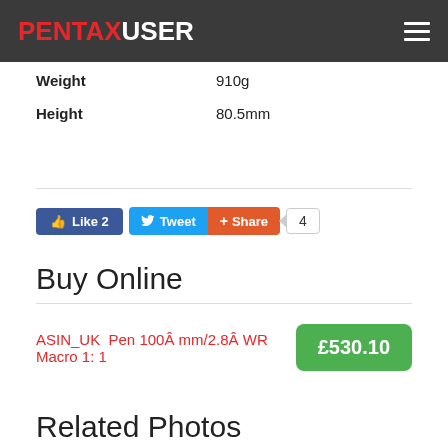PENTAXUSER
| Property | Value |
| --- | --- |
| Weight | 910g |
| Height | 80.5mm |
Like 2  Tweet  Share  4
Buy Online
ASIN_UK  Pen 100Â mm/2.8Â WR Macro 1: 1  £530.10
Related Photos